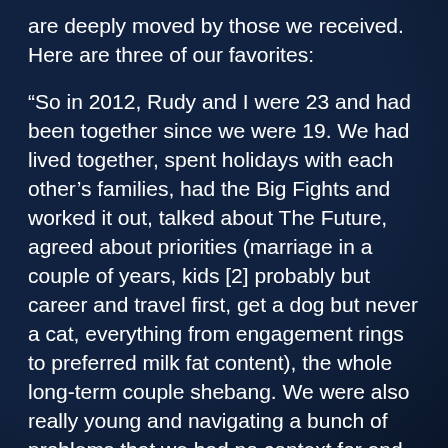are deeply moved by those we received. Here are three of our favorites:
“So in 2012, Rudy and I were 23 and had been together since we were 19. We had lived together, spent holidays with each other’s families, had the Big Fights and worked it out, talked about The Future, agreed about priorities (marriage in a couple of years, kids [2] probably but career and travel first, get a dog but never a cat, everything from engagement rings to preferred milk fat content), the whole long-term couple shebang. We were also really young and navigating a bunch of problems that we had no context for and no way of handling, like the fact that my libido had been decimated by birth control, or his struggle to re-enroll in school after a financial leave. There was a lot